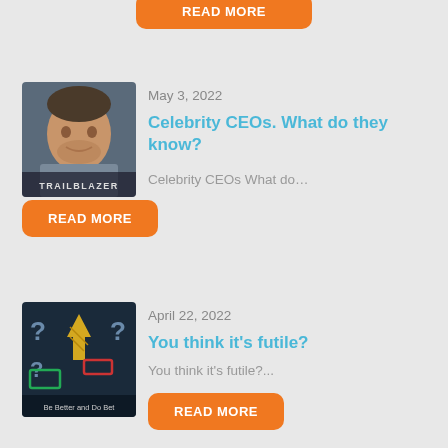[Figure (other): Orange READ MORE button partially visible at top of page]
May 3, 2022
[Figure (photo): Book cover: Trailblazer, showing a man's face]
Celebrity CEOs. What do they know?
Celebrity CEOs  What do…
[Figure (other): Orange READ MORE button]
April 22, 2022
[Figure (illustration): Book cover: Be Better and Do Better, showing arrow and question marks]
You think it's futile?
You think it's futile?...
[Figure (other): Orange READ MORE button]